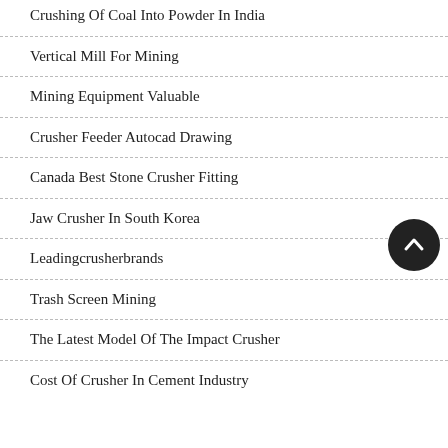Crushing Of Coal Into Powder In India
Vertical Mill For Mining
Mining Equipment Valuable
Crusher Feeder Autocad Drawing
Canada Best Stone Crusher Fitting
Jaw Crusher In South Korea
Leadingcrusherbrands
Trash Screen Mining
The Latest Model Of The Impact Crusher
Cost Of Crusher In Cement Industry